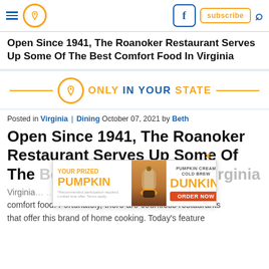Navigation bar with hamburger menu, location icon, Facebook button, subscribe button, search icon
Open Since 1941, The Roanoker Restaurant Serves Up Some Of The Best Comfort Food In Virginia
[Figure (logo): Only In Your State brand logo with orange location pin icon, orange decorative lines on each side, and text ONLY IN YOUR STATE in orange and blue]
Posted in Virginia | Dining October 07, 2021 by Beth
Open Since 1941, The Roanoker Restaurant Serves Up Some Of The Best Comfort Food In Virginia
[Figure (photo): Dunkin advertisement: YOUR PRIZED PUMPKIN with pumpkin cream cold brew image and ORDER NOW button]
Virginia… classic comfort food. Fortunately, there are countless restaurants that offer this brand of home cooking. Today's feature